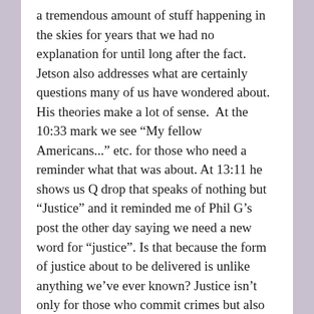a tremendous amount of stuff happening in the skies for years that we had no explanation for until long after the fact. Jetson also addresses what are certainly questions many of us have wondered about. His theories make a lot of sense.  At the 10:33 mark we see “My fellow Americans...” etc. for those who need a reminder what that was about. At 13:11 he shows us Q drop that speaks of nothing but “Justice” and it reminded me of Phil G’s post the other day saying we need a new word for “justice”. Is that because the form of justice about to be delivered is unlike anything we’ve ever known? Justice isn’t only for those who commit crimes but also for those victimized. 21 min.
The New West IS the Plan to Save the World